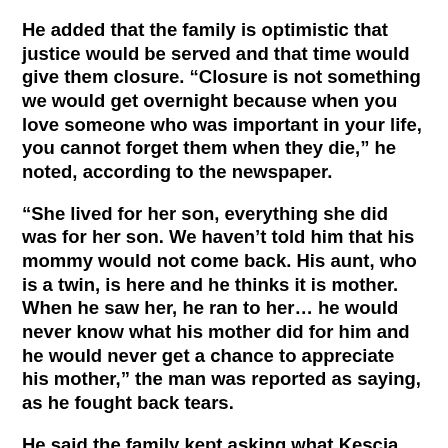He added that the family is optimistic that justice would be served and that time would give them closure. “Closure is not something we would get overnight because when you love someone who was important in your life, you cannot forget them when they die,” he noted, according to the newspaper.
“She lived for her son, everything she did was for her son. We haven’t told him that his mommy would not come back. His aunt, who is a twin, is here and he thinks it is mother. When he saw her, he ran to her… he would never know what his mother did for him and he would never get a chance to appreciate his mother,” the man was reported as saying, as he fought back tears.
He said the family kept asking what Kescia could have possibly done to the perpetrator/s to deserve the fate she suffered.